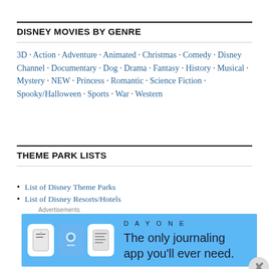DISNEY MOVIES BY GENRE
3D · Action · Adventure · Animated · Christmas · Comedy · Disney Channel · Documentary · Dog · Drama · Fantasy · History · Musical · Mystery · NEW · Princess · Romantic · Science Fiction · Spooky/Halloween · Sports · War · Western
THEME PARK LISTS
List of Disney Theme Parks
List of Disney Resorts/Hotels
BOX OFFICE
[Figure (other): Advertisement banner for Day One journaling app with blue background, app icons, and text 'The only journaling app you'll ever need.']